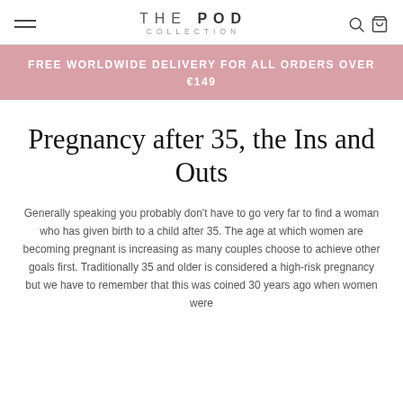THE POD COLLECTION
FREE WORLDWIDE DELIVERY FOR ALL ORDERS OVER €149
Pregnancy after 35, the Ins and Outs
Generally speaking you probably don't have to go very far to find a woman who has given birth to a child after 35. The age at which women are becoming pregnant is increasing as many couples choose to achieve other goals first. Traditionally 35 and older is considered a high-risk pregnancy but we have to remember that this was coined 30 years ago when women were